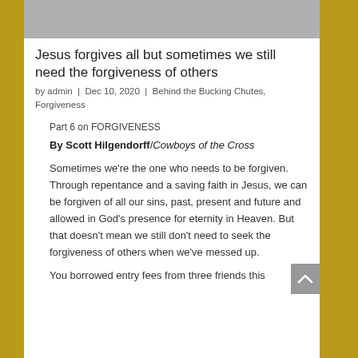[Figure (photo): Gray placeholder image at top of article card]
Jesus forgives all but sometimes we still need the forgiveness of others
by admin | Dec 10, 2020 | Behind the Bucking Chutes, Forgiveness
Part 6 on FORGIVENESS
By Scott Hilgendorff/Cowboys of the Cross
Sometimes we're the one who needs to be forgiven. Through repentance and a saving faith in Jesus, we can be forgiven of all our sins, past, present and future and allowed in God's presence for eternity in Heaven. But that doesn't mean we still don't need to seek the forgiveness of others when we've messed up.
You borrowed entry fees from three friends this